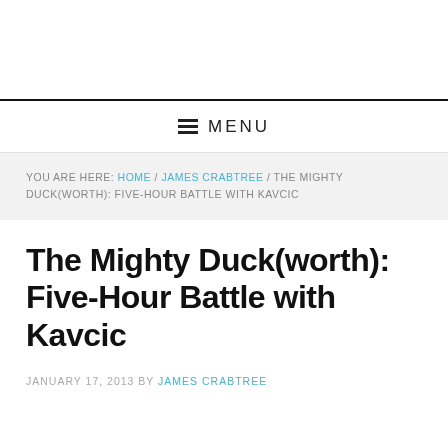≡ MENU
YOU ARE HERE: HOME / JAMES CRABTREE / THE MIGHTY DUCK(WORTH): FIVE-HOUR BATTLE WITH KAVCIC
The Mighty Duck(worth): Five-Hour Battle with Kavcic
JANUARY 17, 2013 BY JAMES CRABTREE